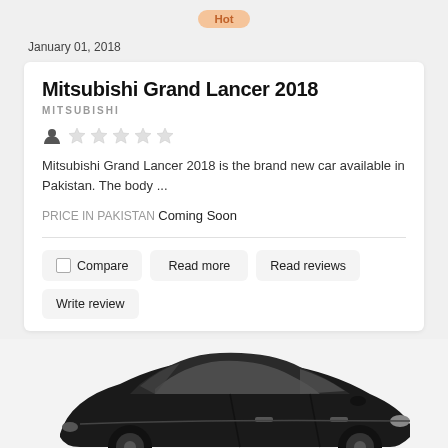Hot
January 01, 2018
Mitsubishi Grand Lancer 2018
MITSUBISHI
Mitsubishi Grand Lancer 2018 is the brand new car available in Pakistan. The body ...
PRICE IN PAKISTAN Coming Soon
Compare
Read more
Read reviews
Write review
[Figure (photo): Black car (sedan/hatchback) photographed from rear-left angle, monochrome/greyscale image]